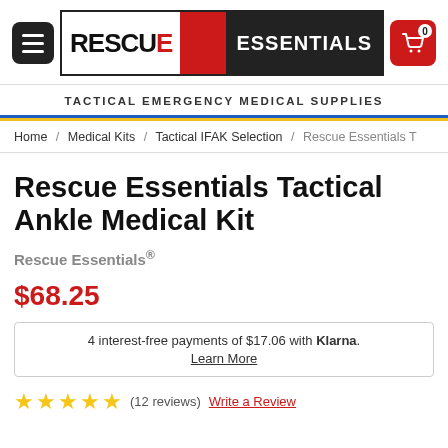RESCUE ESSENTIALS
TACTICAL EMERGENCY MEDICAL SUPPLIES
Home / Medical Kits / Tactical IFAK Selection / Rescue Essentials T
Rescue Essentials Tactical Ankle Medical Kit
Rescue Essentials®
$68.25
4 interest-free payments of $17.06 with Klarna. Learn More
★★★★★ (12 reviews) Write a Review